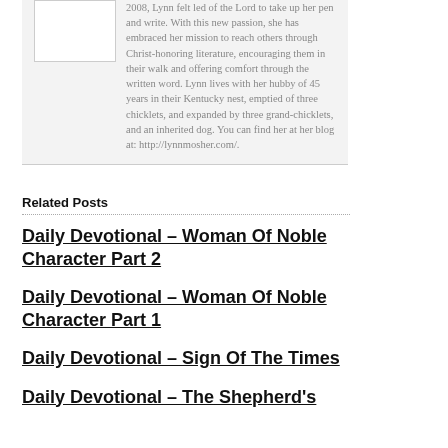2008, Lynn felt led of the Lord to take up her pen and write. With this new passion, she has embraced her mission to reach others through Christ-honoring literature, encouraging them in their walk and offering comfort through the written word. Lynn lives with her hubby of 45 years in their Kentucky nest, emptied of three chicklets, and expanded by three grand-chicklets, and an inherited dog. You can find her at her blog at: http://lynnmosher.com/.
Related Posts
Daily Devotional – Woman Of Noble Character Part 2
Daily Devotional – Woman Of Noble Character Part 1
Daily Devotional – Sign Of The Times
Daily Devotional – The Shepherd's